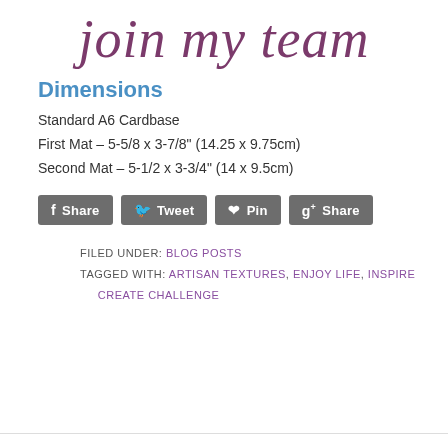join my team
Dimensions
Standard A6 Cardbase
First Mat – 5-5/8 x 3-7/8" (14.25 x 9.75cm)
Second Mat – 5-1/2 x 3-3/4" (14 x 9.5cm)
[Figure (other): Social sharing buttons: Share (Facebook), Tweet (Twitter), Pin (Pinterest), Share (Google+)]
FILED UNDER: BLOG POSTS
TAGGED WITH: ARTISAN TEXTURES, ENJOY LIFE, INSPIRE CREATE CHALLENGE